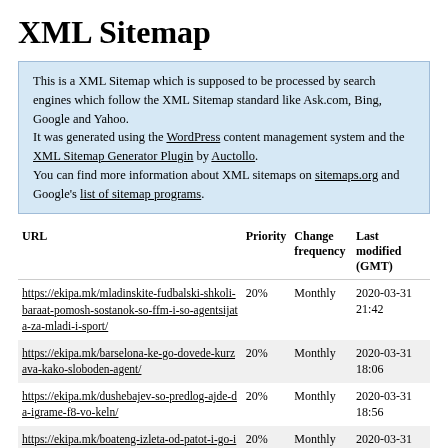XML Sitemap
This is a XML Sitemap which is supposed to be processed by search engines which follow the XML Sitemap standard like Ask.com, Bing, Google and Yahoo. It was generated using the WordPress content management system and the XML Sitemap Generator Plugin by Auctollo. You can find more information about XML sitemaps on sitemaps.org and Google's list of sitemap programs.
| URL | Priority | Change frequency | Last modified (GMT) |
| --- | --- | --- | --- |
| https://ekipa.mk/mladinskite-fudbalski-shkoli-baraat-pomosh-sostanok-so-ffm-i-so-agentsijata-za-mladi-i-sport/ | 20% | Monthly | 2020-03-31 21:42 |
| https://ekipa.mk/barselona-ke-go-dovede-kurzava-kako-sloboden-agent/ | 20% | Monthly | 2020-03-31 18:06 |
| https://ekipa.mk/dushebajev-so-predlog-ajde-da-igrame-f8-vo-keln/ | 20% | Monthly | 2020-03-31 18:56 |
| https://ekipa.mk/boateng-izleta-od-patot-i-go-iskrshi-avtomobilot/ | 20% | Monthly | 2020-03-31 19:18 |
| https://ekipa.mk/dibirov-vardar-mi-pomogna-da-si-go-ostvaram-sonot-zatoa-ostanav-i-vo-teshkite-momenti/ | 20% | Monthly | 2020-03-31 19:05 |
| https://ekipa.mk/stankovik-ne-donirav-respiratori-za-reklama-tuku-za-dobroto-na- | 20% | Monthly | 2020-03-31 |